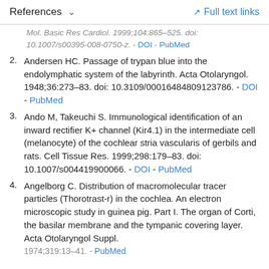References   ∨   Full text links
Mol. Basic Res Cardiol. 1999;104:865–525. doi: 10.1007/s00395-008-0750-z. - DOI - PubMed
2. Andersen HC. Passage of trypan blue into the endolymphatic system of the labyrinth. Acta Otolaryngol. 1948;36:273–83. doi: 10.3109/00016484809123786. - DOI - PubMed
3. Ando M, Takeuchi S. Immunological identification of an inward rectifier K+ channel (Kir4.1) in the intermediate cell (melanocyte) of the cochlear stria vascularis of gerbils and rats. Cell Tissue Res. 1999;298:179–83. doi: 10.1007/s004419900066. - DOI - PubMed
4. Angelborg C. Distribution of macromolecular tracer particles (Thorotrast-r) in the cochlea. An electron microscopic study in guinea pig. Part I. The organ of Corti, the basilar membrane and the tympanic covering layer. Acta Otolaryngol Suppl. 1974;319:13–41. - PubMed